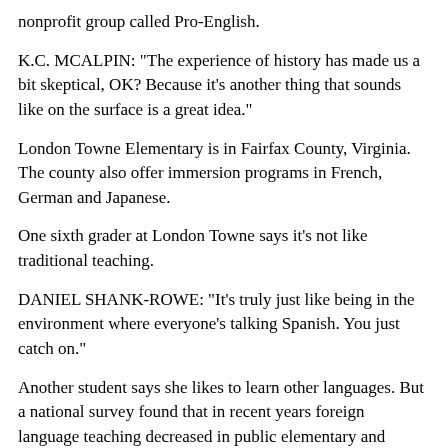nonprofit group called Pro-English.
K.C. MCALPIN: "The experience of history has made us a bit skeptical, OK? Because it's another thing that sounds like on the surface is a great idea."
London Towne Elementary is in Fairfax County, Virginia. The county also offer immersion programs in French, German and Japanese.
One sixth grader at London Towne says it's not like traditional teaching.
DANIEL SHANK-ROWE: "It's truly just like being in the environment where everyone's talking Spanish. You just catch on."
Another student says she likes to learn other languages. But a national survey found that in recent years foreign language teaching decreased in public elementary and middle schools. Fewer schools teach French, German, Russian or Japanese.
Some schools say a federal education law from the last administration has hurt language teaching. This law only requires testing of progress in math and reading. Schools also face language teacher shortages, and now budget cuts caused by the economy.